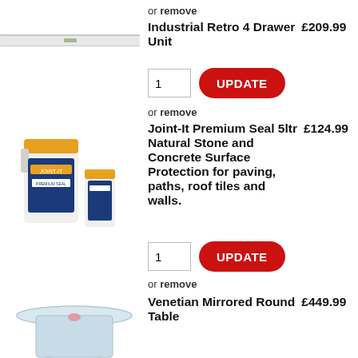or remove
Industrial Retro 4 Drawer Unit  £209.99
1  UPDATE
or remove
Joint-It Premium Seal 5ltr Natural Stone and Concrete Surface Protection for paving, paths, roof tiles and walls.  £124.99
1  UPDATE
or remove
Venetian Mirrored Round Table  £449.99